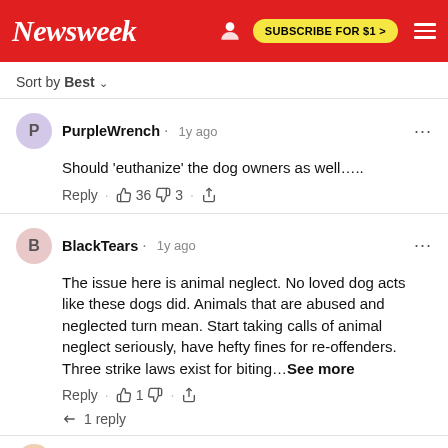Newsweek · SUBSCRIBE FOR $1 >
Sort by Best
PurpleWrench · 1y ago
Should 'euthanize' the dog owners as well…..
Reply · 👍 36 👎 3 · Share
BlackTears · 1y ago
The issue here is animal neglect. No loved dog acts like these dogs did. Animals that are abused and neglected turn mean. Start taking calls of animal neglect seriously, have hefty fines for re-offenders. Three strike laws exist for biting…See more
Reply · 👍 1 👎 · Share
↳ 1 reply